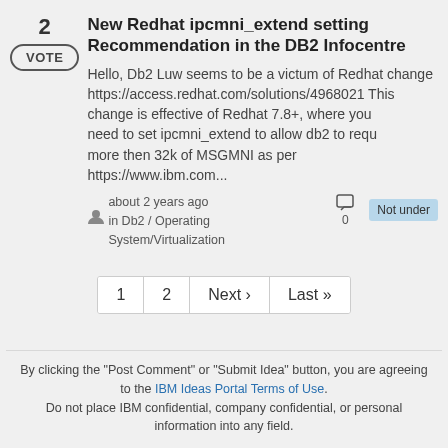New Redhat ipcmni_extend setting Recommendation in the DB2 Infocentre
Hello, Db2 Luw seems to be a victum of Redhat change https://access.redhat.com/solutions/4968021 This change is effective of Redhat 7.8+, where you need to set ipcmni_extend to allow db2 to requ more then 32k of MSGMNI as per https://www.ibm.com...
about 2 years ago in Db2 / Operating System/Virtualization
0
Not under
1
2
Next ›
Last »
By clicking the "Post Comment" or "Submit Idea" button, you are agreeing to the IBM Ideas Portal Terms of Use. Do not place IBM confidential, company confidential, or personal information into any field.